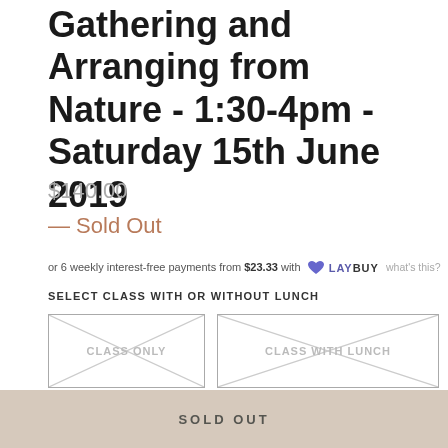Gathering and Arranging from Nature - 1:30-4pm - Saturday 15th June 2019
$140.00
— Sold Out
or 6 weekly interest-free payments from $23.33 with LAYBUY what's this?
SELECT CLASS WITH OR WITHOUT LUNCH
[Figure (other): Two crossed-out option boxes: CLASS ONLY and CLASS WITH LUNCH]
SOLD OUT
SOLD OUT